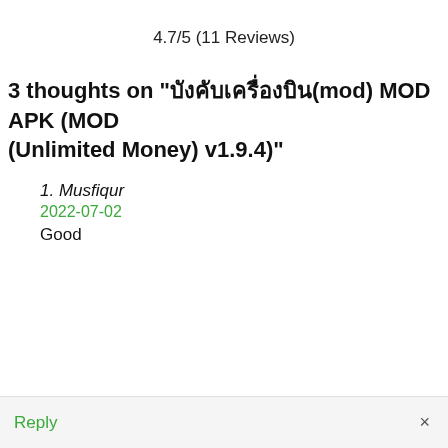4.7/5 (11 Reviews)
3 thoughts on "บังคับเครื่องบิน(mod) MOD APK (MOD (Unlimited Money) v1.9.4)"
Musfiqur
2022-07-02
Good
Reply